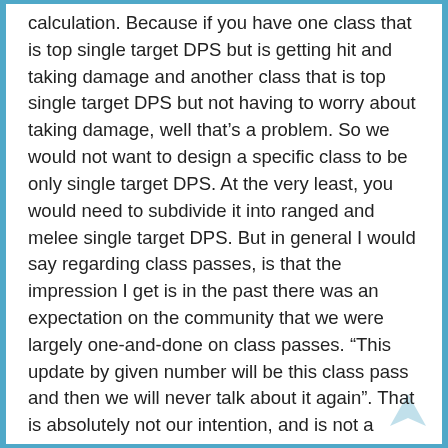calculation. Because if you have one class that is top single target DPS but is getting hit and taking damage and another class that is top single target DPS but not having to worry about taking damage, well that's a problem. So we would not want to design a specific class to be only single target DPS. At the very least, you would need to subdivide it into ranged and melee single target DPS. But in general I would say regarding class passes, is that the impression I get is in the past there was an expectation on the community that we were largely one-and-done on class passes. “This update by given number will be this class pass and then we will never talk about it again”. That is absolutely not our intention, and is not a practical way to go about this. Class balance is an ongoing, and frankly never ending, development thing. So we do plan to do some additional class